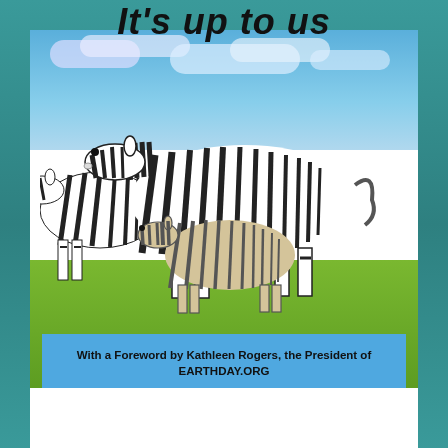It's up to us
[Figure (photo): Book cover photograph showing adult zebra with foal standing on green savanna grassland with blue cloudy sky background]
With a Foreword by Kathleen Rogers, the President of EARTHDAY.ORG